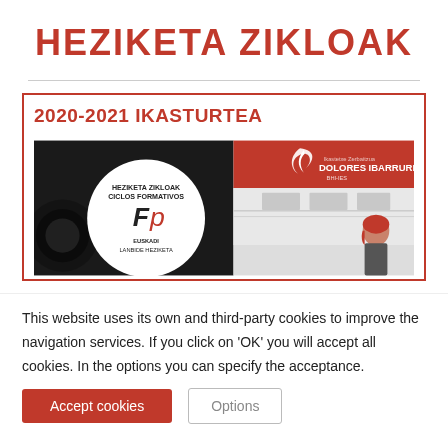HEZIKETA ZIKLOAK
2020-2021 IKASTURTEA
[Figure (illustration): Banner image for Heziketa Zikloak / Ciclos Formativos at Dolores Ibarruri school. Left side: dark background with a circular white logo containing 'Fp' and text 'HEZIKETA ZIKLOAK CICLOS FORMATIVOS EUSKADI LANBIDE HEZIKETA'. Right side: red header with 'DOLORES IBARRURI' logo and school name; below a photo of a woman in an office environment.]
This website uses its own and third-party cookies to improve the navigation services. If you click on 'OK' you will accept all cookies. In the options you can specify the acceptance.